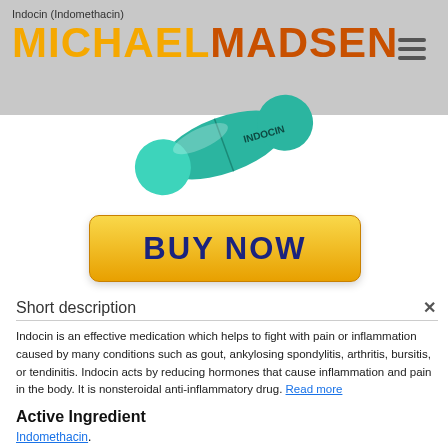Indocin (Indomethacin)
[Figure (photo): A teal/green capsule pill labeled INDOCIN, shown at an angle on a light gray background]
[Figure (other): Yellow gradient BUY NOW button with dark blue bold text]
Short description
Indocin is an effective medication which helps to fight with pain or inflammation caused by many conditions such as gout, ankylosing spondylitis, arthritis, bursitis, or tendinitis. Indocin acts by reducing hormones that cause inflammation and pain in the body. It is nonsteroidal anti-inflammatory drug. Read more
Active Ingredient
Indomethacin.